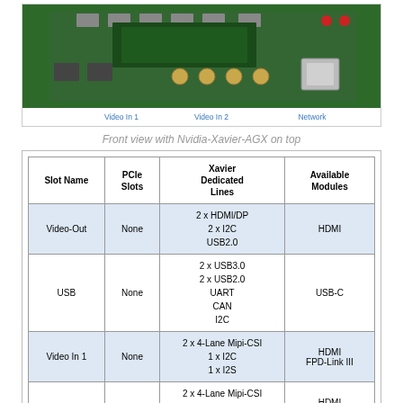[Figure (photo): Front view of PCB carrier board with Nvidia Xavier AGX on top, showing connectors: Video In 1, Video In 2, Network ports]
Front view with Nvidia-Xavier-AGX on top
| Slot Name | PCIe Slots | Xavier Dedicated Lines | Available Modules |
| --- | --- | --- | --- |
| Video-Out | None | 2 x HDMI/DP
2 x I2C
USB2.0 | HDMI |
| USB | None | 2 x USB3.0
2 x USB2.0
UART
CAN
I2C | USB-C |
| Video In 1 | None | 2 x 4-Lane Mipi-CSI
1 x I2C
1 x I2S | HDMI
FPD-Link III |
| Video in 2 | None | 2 x 4-Lane Mipi-CSI
1 x I2C
1 x I2S | HDMI
FPD-Link III |
| Network | None | RGMII | ... |